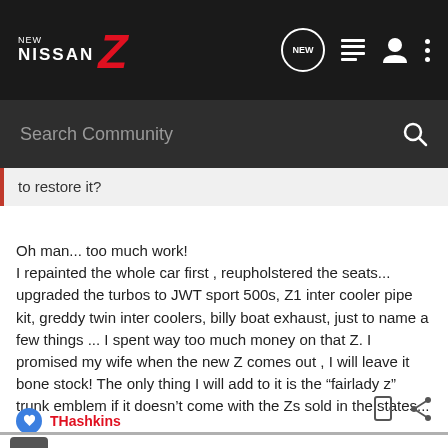NEW NISSAN Z - Search Community
to restore it?
Oh man... too much work!
I repainted the whole car first , reupholstered the seats... upgraded the turbos to JWT sport 500s, Z1 inter cooler pipe kit, greddy twin inter coolers, billy boat exhaust, just to name a few things ... I spent way too much money on that Z. I promised my wife when the new Z comes out , I will leave it bone stock! The only thing I will add to it is the “fairlady z” trunk emblem if it doesn’t come with the Zs sold in the states...
THashkins
zenki · Registered